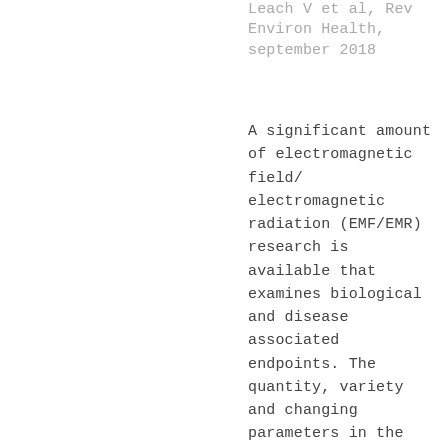Leach V et al, Rev Environ Health, september 2018
A significant amount of electromagnetic field/ electromagnetic radiation (EMF/EMR) research is available that examines biological and disease associated endpoints. The quantity, variety and changing parameters in the available research can be challenging when undertaking a literature review, meta-analysis, preparing a study design, building reference lists or comparing findings between relevant scientific papers. The Oceania Radiofrequency Scientific Advisory Association (ORSAA) has created a comprehensive, non-biased,